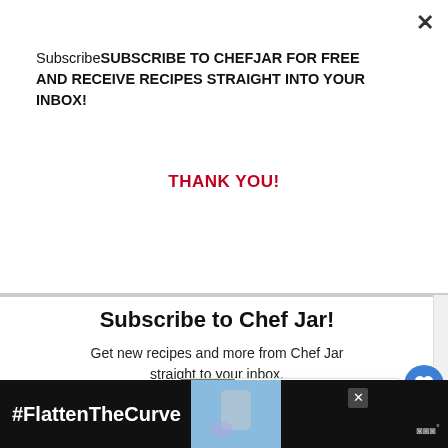SubscribeSUBSCRIBE TO CHEFJAR FOR FREE AND RECEIVE RECIPES STRAIGHT INTO YOUR INBOX!
THANK YOU!
Subscribe to Chef Jar!
Get new recipes and more from Chef Jar straight to your inbox.
Your Email...
SUBSCRIBE
I consent to receiving emails and personalized ads.
WHAT'S NEXT → SPINACH STUFFED...
#FlattenTheCurve